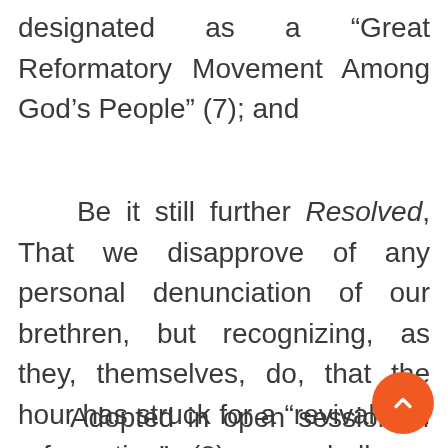designated as a “Great Reformatory Movement Among God’s People” (7); and
Be it still further Resolved, That we disapprove of any personal denunciation of our brethren, but recognizing, as they, themselves, do, that the hour has struck for a “revival and reformation” (8), we shall, as God’s true messengers, “cry aloud and spare not” (9).
Adopted in open session of Davidian Seventh-day Adventist